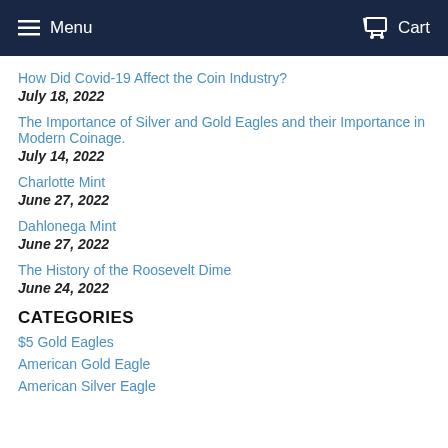Menu  Cart
How Did Covid-19 Affect the Coin Industry?
July 18, 2022
The Importance of Silver and Gold Eagles and their Importance in Modern Coinage.
July 14, 2022
Charlotte Mint
June 27, 2022
Dahlonega Mint
June 27, 2022
The History of the Roosevelt Dime
June 24, 2022
CATEGORIES
$5 Gold Eagles
American Gold Eagle
American Silver Eagle